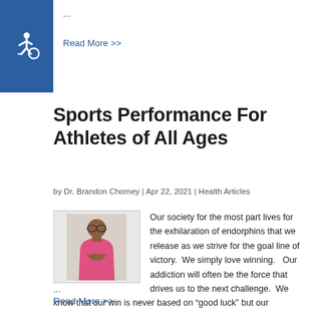...
Read More >>
[Figure (other): Accessibility icon — white wheelchair symbol on blue background]
Sports Performance For Athletes of All Ages
by Dr. Brandon Chorney | Apr 22, 2021 | Health Articles
[Figure (photo): Photo of a man with crossed fingers wearing a pink jacket]
Our society for the most part lives for the exhilaration of endorphins that we release as we strive for the goal line of victory.  We simply love winning.   Our addiction will often be the force that drives us to the next challenge.  We know that our win is never based on "good luck" but our
...
Read More >>